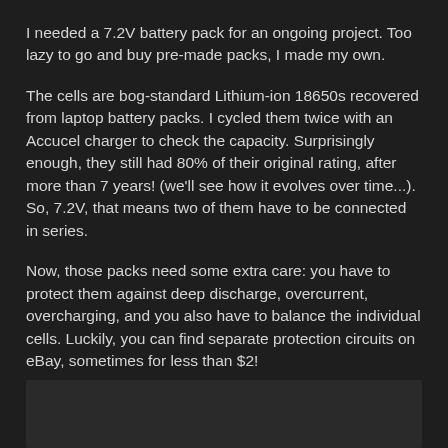I needed a 7.2V battery pack for an ongoing project. Too lazy to go and buy pre-made packs, I made my own.
The cells are bog-standard Lithium-ion 18650s recovered from laptop battery packs. I cycled them twice with an Accucel charger to check the capacity. Surprisingly enough, they still had 80% of their original rating, after more than 7 years! (we'll see how it evolves over time...). So, 7.2V, that means two of them have to be connected in series.
Now, those packs need some extra care: you have to protect them against deep discharge, overcurrent, overcharging, and you also have to balance the individual cells. Luckily, you can find separate protection circuits on eBay, sometimes for less than $2!
[Figure (photo): Dark rectangular image placeholder at the bottom of the page]